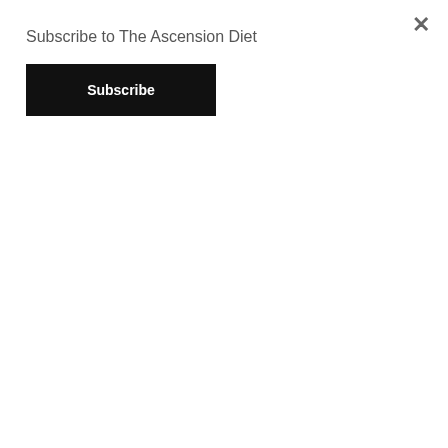Subscribe to The Ascension Diet
Subscribe
Sign of Jonah signs and wonders Silent Weapons for Quiet Wars sin sin code cracked singularity singularity event Sirius six fingers sixth sense sky documentation Skynet slavery SLC-18 SLC18 sleep smart device smart devices snake snow Sobek social credit score SOCIAL CREDIT SCORE SCS social distancing Social Engineering social media social steering soft kill solar flare Solar Warden Soldiers for Christ Solfeggio song sorcery soul soul trap soultrap